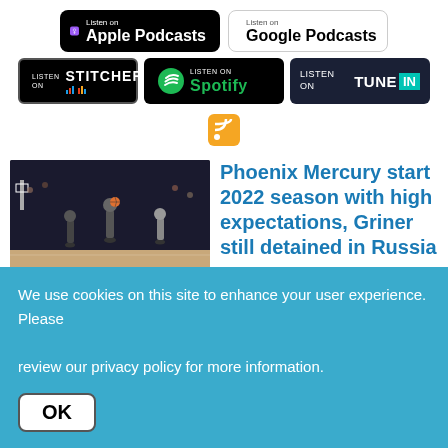[Figure (logo): Listen on Apple Podcasts badge]
[Figure (logo): Listen on Google Podcasts badge]
[Figure (logo): Listen on Stitcher badge]
[Figure (logo): Listen on Spotify badge]
[Figure (logo): Listen on TuneIn badge]
[Figure (logo): RSS feed icon]
[Figure (photo): Basketball game photo showing Phoenix Mercury players on court]
Phoenix Mercury start 2022 season with high expectations, Griner still detained in Russia
We use cookies on this site to enhance your user experience. Please review our privacy policy for more information.